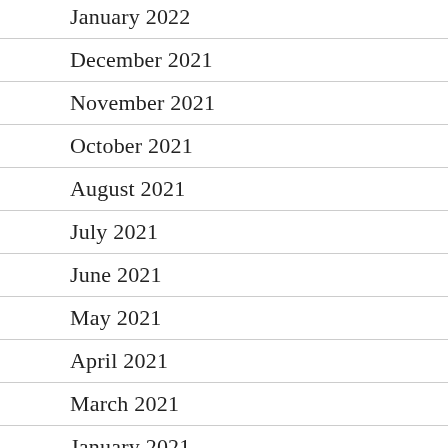January 2022
December 2021
November 2021
October 2021
August 2021
July 2021
June 2021
May 2021
April 2021
March 2021
January 2021
December 2020